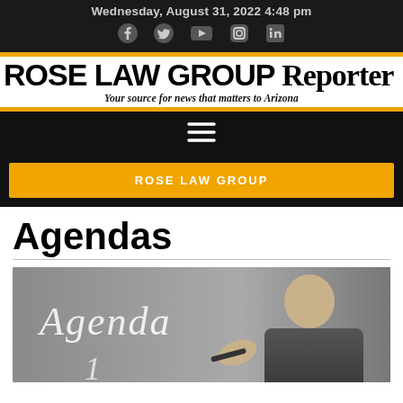Wednesday, August 31, 2022 4:48 pm
ROSE LAW GROUP Reporter — Your source for news that matters to Arizona
ROSE LAW GROUP
Agendas
[Figure (photo): A person writing 'Agenda' on a glass surface with a marker, viewed from the front. The background is grey and the text is in white cursive lettering.]